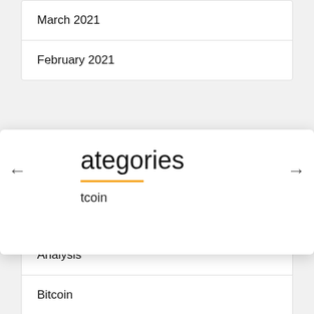March 2021
February 2021
ategories
tcoin
Analysis
Bitcoin
Business